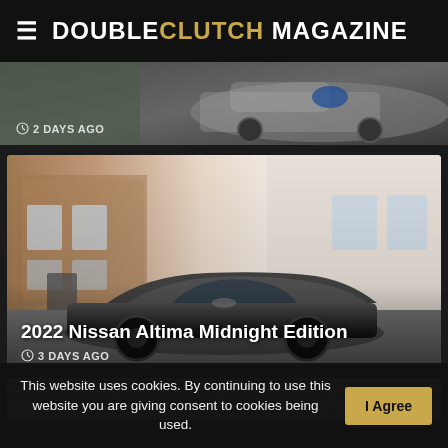DOUBLECLUTCH MAGAZINE
[Figure (photo): Partial view of a car article thumbnail with timestamp '2 DAYS AGO']
2 DAYS AGO
[Figure (photo): 2022 Nissan Altima Midnight Edition parked in front of a historic brick building]
2022 Nissan Altima Midnight Edition
3 DAYS AGO
[Figure (photo): Partial view of another article thumbnail at the bottom of the page]
This website uses cookies. By continuing to use this website you are giving consent to cookies being used.